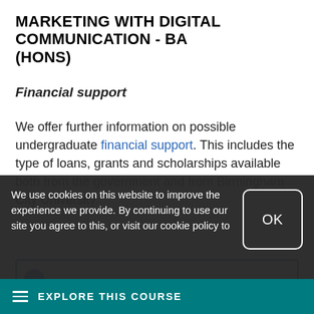MARKETING WITH DIGITAL COMMUNICATION - BA (HONS)
Financial support
We offer further information on possible undergraduate financial support. This includes the type of loans, grants and scholarships available both from the government and from Birmingham City University.
[Figure (other): Partially visible UI box with blue circular element, likely a chat or info widget]
We use cookies on this website to improve the experience we provide. By continuing to use our site you agree to this, or visit our cookie policy to
OK
EXPLORE THIS COURSE